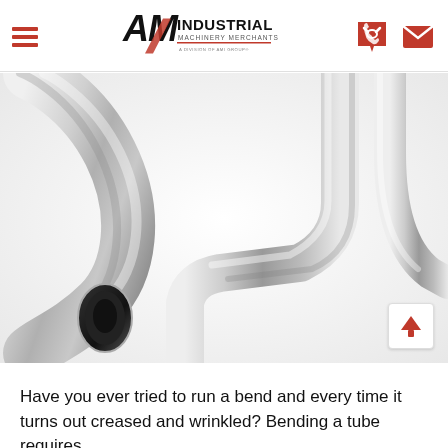AM Industrial Machinery Merchants — A Division of AMI Group
[Figure (photo): Close-up photo of shiny chrome/steel bent tubes — one large U-bend tube on the left with an open circular end visible, and a sharply bent angular tube on the right, both on a white background.]
Have you ever tried to run a bend and every time it turns out creased and wrinkled? Bending a tube requires